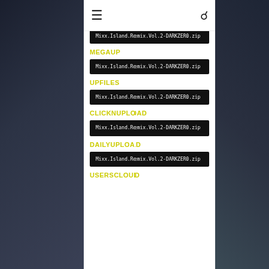☰  🔍
Mixx.Island.Remix.Vol.2-DARKZER0.zip
MEGAUP
Mixx.Island.Remix.Vol.2-DARKZER0.zip
UPFILES
Mixx.Island.Remix.Vol.2-DARKZER0.zip
CLICKNUPLOAD
Mixx.Island.Remix.Vol.2-DARKZER0.zip
DAILYUPLOAD
Mixx.Island.Remix.Vol.2-DARKZER0.zip
USERSCLOUD